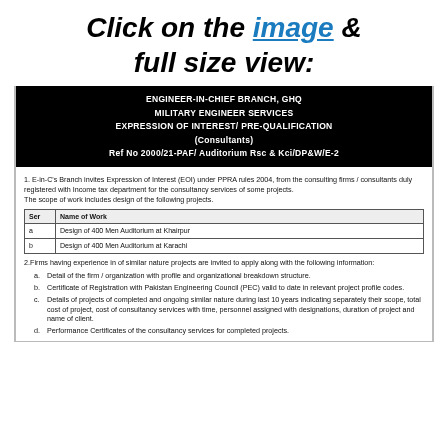Click on the image & full size view:
ENGINEER-IN-CHIEF BRANCH, GHQ
MILITARY ENGINEER SERVICES
EXPRESSION OF INTEREST/ PRE-QUALIFICATION
(Consultants)
Ref No 2000/21-PAF/ Auditorium Rsc & Kci/DP&W/E-2
1. E-in-C's Branch invites Expression of Interest (EOI) under PPRA rules 2004, from the consulting firms / consultants duly registered with Income tax department for the consultancy services of some projects. The scope of work includes design of the following projects.
| Ser | Name of Work |
| --- | --- |
| a | Design of 400 Men Auditorium at Khairpur |
| b | Design of 400 Men Auditorium at Karachi |
2. Firms having experience in of similar nature projects are invited to apply along with the following information:
a. Detail of the firm / organization with profile and organizational breakdown structure.
b. Certificate of Registration with Pakistan Engineering Council (PEC) valid to date in relevant project profile codes.
c. Details of projects of completed and ongoing similar nature during last 10 years indicating separately their scope, total cost of project, cost of consultancy services with time, personnel assigned with designations, duration of project and name of client.
d. Performance Certificates of the consultancy services for completed projects.